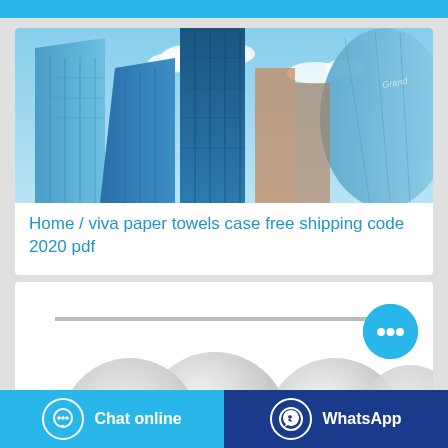[Figure (photo): Upward-angle photo of modern glass skyscrapers against a blue sky with clouds]
Home / viva paper towels case free shipping code 2020 pdf
[Figure (photo): White paper towel rolls partially visible at bottom of second card, with a horizontal divider line above them]
[Figure (other): Cyan circular chat button with speech bubble dots icon]
Chat online
WhatsApp